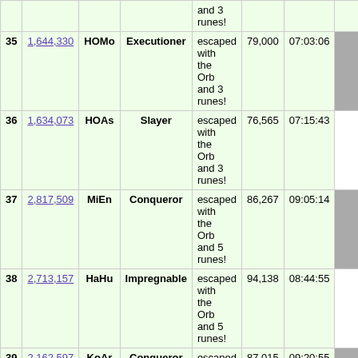| # | Score | Char | Title | Result | Turns | Time |  |
| --- | --- | --- | --- | --- | --- | --- | --- |
|  |  |  |  | and 3 runes! |  |  |  |
| 35 | 1,644,330 | HOMo | Executioner | escaped with the Orb and 3 runes! | 79,000 | 07:03:06 | O |
| 36 | 1,634,073 | HOAs | Slayer | escaped with the Orb and 3 runes! | 76,565 | 07:15:43 | O |
| 37 | 2,817,509 | MiEn | Conqueror | escaped with the Orb and 5 runes! | 86,267 | 09:05:14 | G |
| 38 | 2,713,157 | HaHu | Impregnable | escaped with the Orb and 5 runes! | 94,138 | 08:44:55 | O |
| 39 | 2,162,597 | KoAr | Conqueror | escaped with the Orb and 4 runes! | 87,015 | 09:20:55 | G |